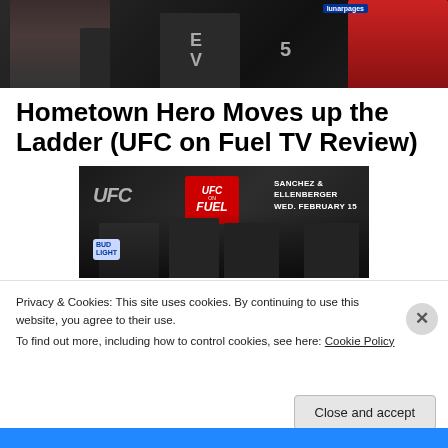[Figure (photo): Top portion of a UFC event photo showing fighters and staff on stage, with Lunarpages branding visible in background. Dark background with figures partially visible.]
Hometown Hero Moves up the Ladder (UFC on Fuel TV Review)
[Figure (photo): UFC on Fuel TV event photo showing fighters at a face-off with Dana White officiating. Banner reads 'SANCHEZ ELLENBERGER WED. FEBRUARY 15'. Bud Light signage visible. UFC on Fuel TV logo prominent.]
Privacy & Cookies: This site uses cookies. By continuing to use this website, you agree to their use.
To find out more, including how to control cookies, see here: Cookie Policy
Close and accept